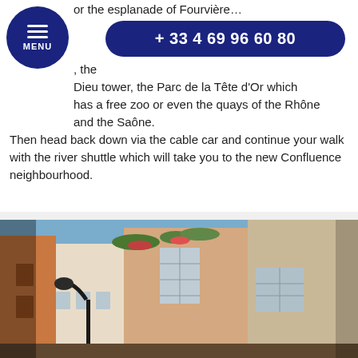or the esplanade of Fourvière… the scenery + 33 4 69 96 60 80, the Dieu tower, the Parc de la Tête d'Or which has a free zoo or even the quays of the Rhône and the Saône.
Then head back down via the cable car and continue your walk with the river shuttle which will take you to the new Confluence neighbourhood.
[Figure (photo): Street-level view of old Lyon (Vieux-Lyon) with historic stone and plaster buildings, flower-adorned balconies, and a classic iron street lamp in the foreground.]